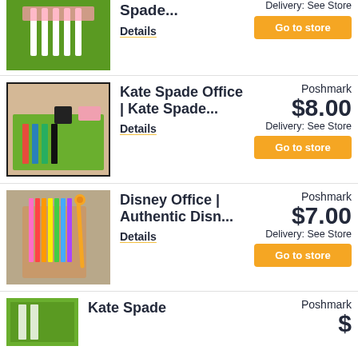[Figure (photo): Partial top product: green Kate Spade pencil set]
Spade...
Details
Delivery: See Store
Go to store
[Figure (photo): Kate Spade office product with colorful pens on green background, with pink and black labels]
Kate Spade Office | Kate Spade...
Details
Poshmark
$8.00
Delivery: See Store
Go to store
[Figure (photo): Disney office product: colorful pencils in kraft box with Tigger pen on carpet background]
Disney Office | Authentic Disn...
Details
Poshmark
$7.00
Delivery: See Store
Go to store
[Figure (photo): Partial bottom product: Kate Spade green item]
Kate Spade
Poshmark